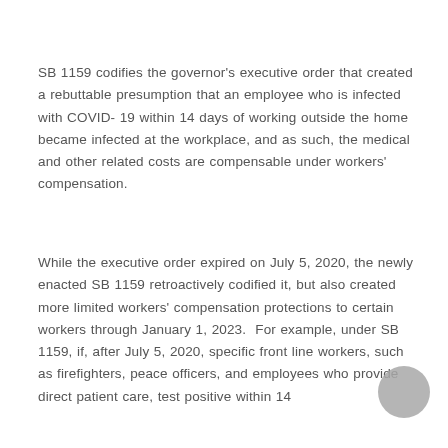SB 1159 codifies the governor's executive order that created a rebuttable presumption that an employee who is infected with COVID-19 within 14 days of working outside the home became infected at the workplace, and as such, the medical and other related costs are compensable under workers' compensation.
While the executive order expired on July 5, 2020, the newly enacted SB 1159 retroactively codified it, but also created more limited workers' compensation protections to certain workers through January 1, 2023.  For example, under SB 1159, if, after July 5, 2020, specific front line workers, such as firefighters, peace officers, and employees who provide direct patient care, test positive within 14